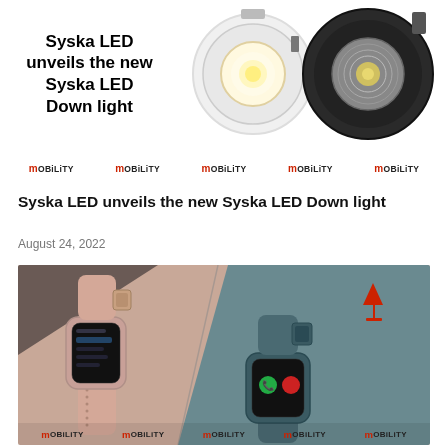[Figure (photo): Syska LED Down light product image with two round LED recessed lights on white/dark background, with MOBILITY watermark repeated across the bottom. Title text 'Syska LED unveils the new Syska LED Down light' overlaid on left side.]
Syska LED unveils the new Syska LED Down light
August 24, 2022
[Figure (photo): Smartwatch product image showing two smartwatches (pink/rose gold and teal/dark blue) on a geometric background split between pink beige and teal, with MOBILITY watermark repeated across the bottom. A red sailboat icon is visible in the upper right corner.]